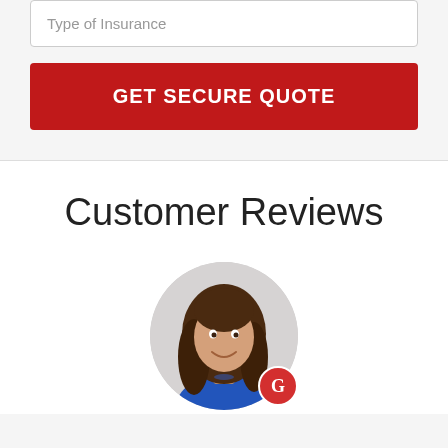Type of Insurance
GET SECURE QUOTE
Customer Reviews
[Figure (photo): Circular profile photo of a smiling woman with long brown hair wearing a blue top, with a Google 'G' badge in the bottom right corner of the circle.]